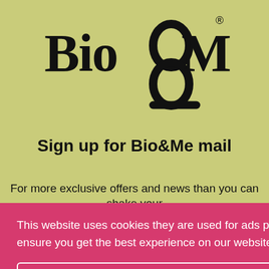[Figure (logo): Bio&Me brand logo in black on olive/yellow-green background]
Sign up for Bio&Me mail
For more exclusive offers and news than you can shake your
This website uses cookies they are used for ads personalisation with Google and NextRoll to ensure you get the best experience on our website. Learn More
I agree